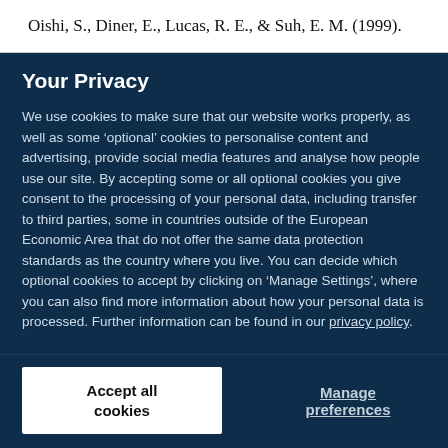Oishi, S., Diner, E., Lucas, R. E., & Suh, E. M. (1999).
Your Privacy
We use cookies to make sure that our website works properly, as well as some ‘optional’ cookies to personalise content and advertising, provide social media features and analyse how people use our site. By accepting some or all optional cookies you give consent to the processing of your personal data, including transfer to third parties, some in countries outside of the European Economic Area that do not offer the same data protection standards as the country where you live. You can decide which optional cookies to accept by clicking on ‘Manage Settings’, where you can also find more information about how your personal data is processed. Further information can be found in our privacy policy.
Accept all cookies
Manage preferences